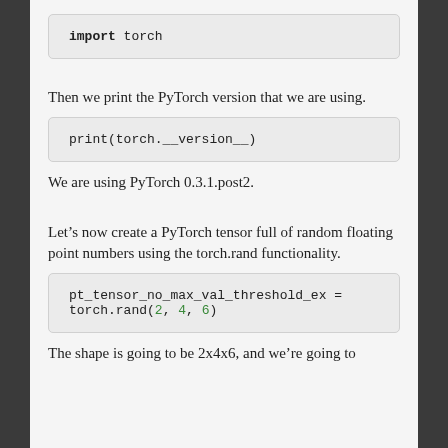[Figure (screenshot): Code block showing: import torch]
Then we print the PyTorch version that we are using.
[Figure (screenshot): Code block showing: print(torch.__version__)]
We are using PyTorch 0.3.1.post2.
Let’s now create a PyTorch tensor full of random floating point numbers using the torch.rand functionality.
[Figure (screenshot): Code block showing: pt_tensor_no_max_val_threshold_ex = torch.rand(2, 4, 6)]
The shape is going to be 2x4x6, and we’re going to